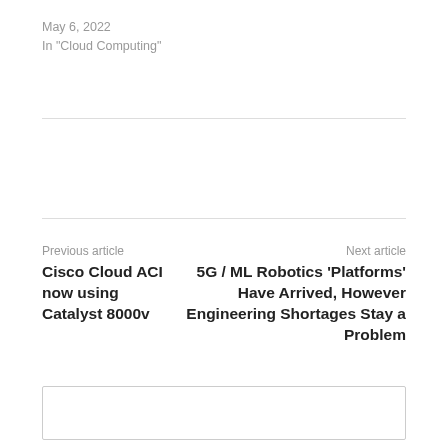May 6, 2022
In "Cloud Computing"
Previous article
Cisco Cloud ACI now using Catalyst 8000v
Next article
5G / ML Robotics 'Platforms' Have Arrived, However Engineering Shortages Stay a Problem
[Figure (other): Empty comment/form box at the bottom of the page]